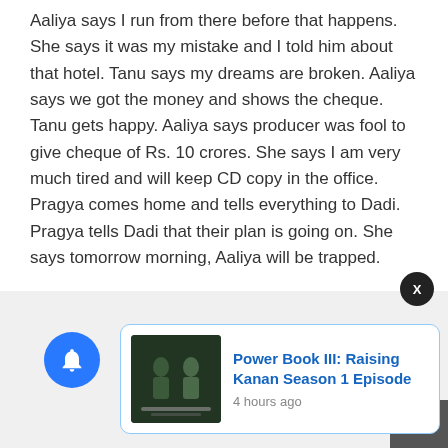Aaliya says I run from there before that happens. She says it was my mistake and I told him about that hotel. Tanu says my dreams are broken. Aaliya says we got the money and shows the cheque. Tanu gets happy. Aaliya says producer was fool to give cheque of Rs. 10 crores. She says I am very much tired and will keep CD copy in the office. Pragya comes home and tells everything to Dadi. Pragya tells Dadi that their plan is going on. She says tomorrow morning, Aaliya will be trapped.
[Figure (other): Notification bell icon with blue circle background and red badge showing 3]
[Figure (other): Close button X in dark circle]
[Figure (other): Notification card with thumbnail image for Power Book III: Raising Kanan Season 1 Episode, posted 4 hours ago]
[Figure (other): Up arrow navigation button in dark grey square at bottom right]